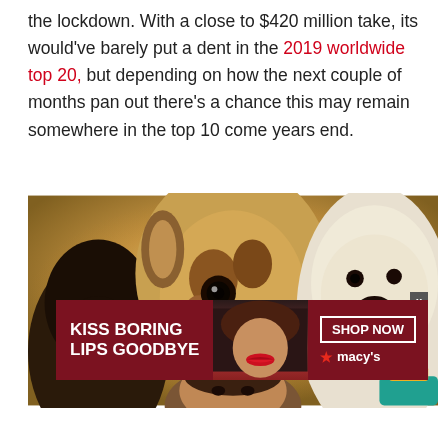the lockdown. With a close to $420 million take, its would've barely put a dent in the 2019 worldwide top 20, but depending on how the next couple of months pan out there's a chance this may remain somewhere in the top 10 come years end.
[Figure (photo): Movie promotional image showing close-up faces of animals including a gorilla, a cow/giraffe, and a polar bear, with a human figure partially visible. An infolinks ad label is overlaid at the bottom left, and a Macy's advertisement banner showing a woman with red lips and text 'KISS BORING LIPS GOODBYE' and 'SHOP NOW' is at the bottom.]